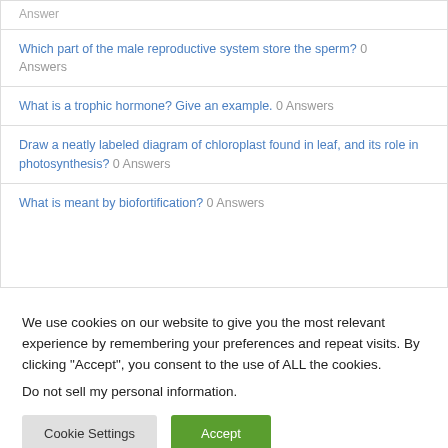Answer
Which part of the male reproductive system store the sperm? 0 Answers
What is a trophic hormone? Give an example. 0 Answers
Draw a neatly labeled diagram of chloroplast found in leaf, and its role in photosynthesis? 0 Answers
What is meant by biofortification? 0 Answers
We use cookies on our website to give you the most relevant experience by remembering your preferences and repeat visits. By clicking “Accept”, you consent to the use of ALL the cookies.
Do not sell my personal information.